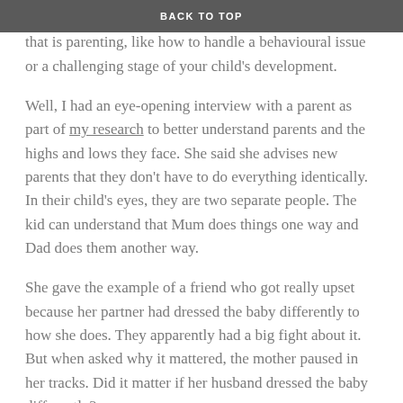BACK TO TOP
how to handle something that comes up in the quagmire that is parenting, like how to handle a behavioural issue or a challenging stage of your child's development.
Well, I had an eye-opening interview with a parent as part of my research to better understand parents and the highs and lows they face. She said she advises new parents that they don't have to do everything identically. In their child's eyes, they are two separate people. The kid can understand that Mum does things one way and Dad does them another way.
She gave the example of a friend who got really upset because her partner had dressed the baby differently to how she does. They apparently had a big fight about it. But when asked why it mattered, the mother paused in her tracks. Did it matter if her husband dressed the baby differently?